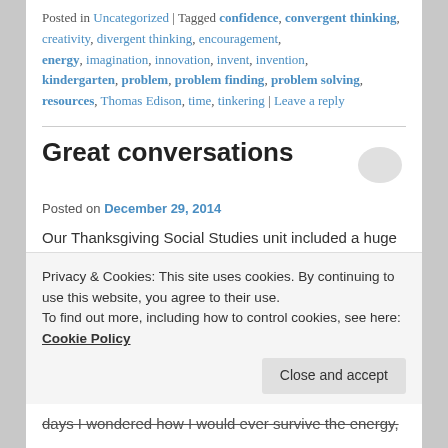Posted in Uncategorized | Tagged confidence, convergent thinking, creativity, divergent thinking, encouragement, energy, imagination, innovation, invent, invention, kindergarten, problem, problem finding, problem solving, resources, Thomas Edison, time, tinkering | Leave a reply
Great conversations
Posted on December 29, 2014
Our Thanksgiving Social Studies unit included a huge block build. We divided ourselves into three groups – those who remained in England and Holland, the Pilgrims/Saints
Privacy & Cookies: This site uses cookies. By continuing to use this website, you agree to their use.
To find out more, including how to control cookies, see here: Cookie Policy
days I wondered how I would ever survive the energy,